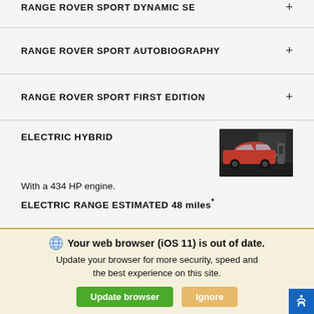RANGE ROVER SPORT DYNAMIC SE +
RANGE ROVER SPORT AUTOBIOGRAPHY +
RANGE ROVER SPORT FIRST EDITION +
ELECTRIC HYBRID
[Figure (photo): Red Range Rover Sport electric hybrid vehicle parked in a dark indoor setting with a charging station visible]
With a 434 HP engine.
ELECTRIC RANGE ESTIMATED 48 miles*
Your web browser (iOS 11) is out of date. Update your browser for more security, speed and the best experience on this site.
Update browser | Ignore